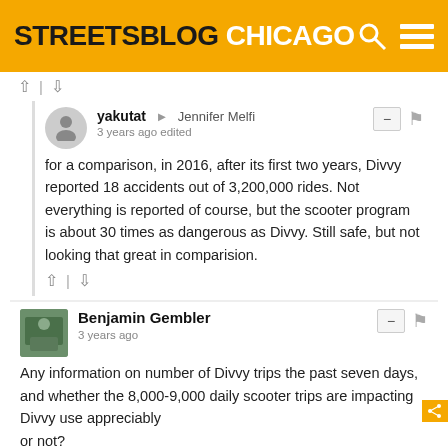STREETSBLOG CHICAGO
for a comparison, in 2016, after its first two years, Divvy reported 18 accidents out of 3,200,000 rides. Not everything is reported of course, but the scooter program is about 30 times as dangerous as Divvy. Still safe, but not looking that great in comparision.
Any information on number of Divvy trips the past seven days, and whether the 8,000-9,000 daily scooter trips are impacting Divvy use appreciably
or not?
Allen Marshall → Benjamin Gembler